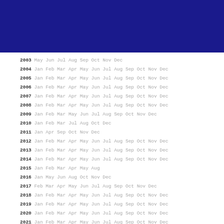[Figure (other): Dark blue textured banner header image]
2003 May Jun Jul Aug Sep Oct Nov Dec
2004 Jan Feb Mar Apr May Jun Jul Aug Sep Oct Nov Dec
2005 Jan Feb Mar Apr May Jun Jul Aug Sep Oct Nov Dec
2006 Jan Feb Mar Apr May Jun Jul Aug Sep Oct Nov Dec
2007 Jan Feb Mar Apr May Jun Jul Aug Sep Oct Nov Dec
2008 Jan Feb Mar Apr May Jun Jul Aug Sep Oct Nov Dec
2009 Jan Feb Mar May Jun Jul Aug Sep Oct Nov Dec
2010 Jan Feb Mar Jul Aug Oct Dec
2011 Jan Apr Sep Oct Nov Dec
2012 Jan Feb Mar Apr May Jun Jul Aug Sep Oct Nov Dec
2013 Jan Feb Mar Apr May Jun Jul Aug Sep Oct Nov Dec
2014 Jan Feb Mar Apr May Jun Jul Aug Sep Oct Nov Dec
2015 Jan Feb Mar Apr May Aug
2016 Jan May Jun Aug Oct Nov Dec
2017 Feb Mar Apr May Jun Jul Aug Sep Oct Nov Dec
2018 Jan Feb Mar Apr May Jun Jul Aug Sep Oct Nov Dec
2019 Jan Feb Mar Apr May Jun Jul Aug Sep Oct Nov Dec
2020 Jan Feb Mar Apr May Jun Jul Aug Sep Oct Nov Dec
2021 Jan Feb Mar Apr May Jun Jul Aug Sep Oct Nov Dec
2022 Jan Feb Mar Apr May Jun Jul Aug